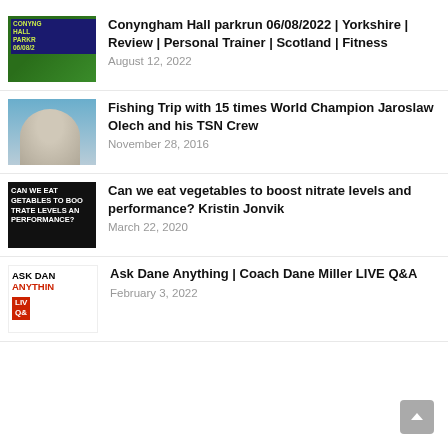Conyngham Hall parkrun 06/08/2022 | Yorkshire | Review | Personal Trainer | Scotland | Fitness
August 12, 2022
Fishing Trip with 15 times World Champion Jaroslaw Olech and his TSN Crew
November 28, 2016
Can we eat vegetables to boost nitrate levels and performance? Kristin Jonvik
March 22, 2020
Ask Dane Anything | Coach Dane Miller LIVE Q&A
February 3, 2022